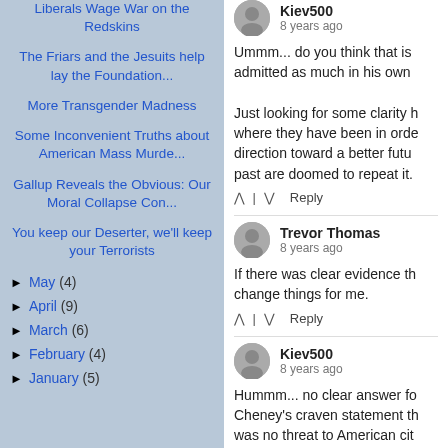Liberals Wage War on the Redskins
The Friars and the Jesuits help lay the Foundation...
More Transgender Madness
Some Inconvenient Truths about American Mass Murde...
Gallup Reveals the Obvious: Our Moral Collapse Con...
You keep our Deserter, we'll keep your Terrorists
May (4)
April (9)
March (6)
February (4)
January (5)
Kiev500
8 years ago
Ummm... do you think that is admitted as much in his own

Just looking for some clarity h where they have been in ord direction toward a better futu past are doomed to repeat it.
Reply
Trevor Thomas
8 years ago
If there was clear evidence th change things for me.
Reply
Kiev500
8 years ago
Hummm... no clear answer fo Cheney's craven statement th was no threat to American cit